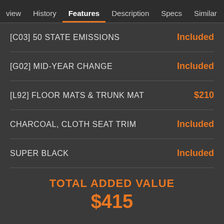view  History  Features  Description  Specs  Similar
[C03] 50 STATE EMISSIONS — Included
[G02] MID-YEAR CHANGE — Included
[L92] FLOOR MATS & TRUNK MAT — $210
CHARCOAL, CLOTH SEAT TRIM — Included
SUPER BLACK — Included
TOTAL ADDED VALUE
$415